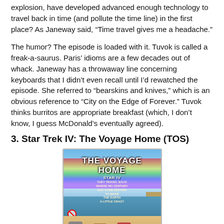explosion, have developed advanced enough technology to travel back in time (and pollute the time line) in the first place? As Janeway said, “Time travel gives me a headache.”
The humor? The episode is loaded with it. Tuvok is called a freak-a-saurus. Paris’ idioms are a few decades out of whack. Janeway has a throwaway line concerning keyboards that I didn’t even recall until I’d rewatched the episode. She referred to “bearskins and knives,” which is an obvious reference to “City on the Edge of Forever.” Tuvok thinks burritos are appropriate breakfast (which, I don’t know, I guess McDonald’s eventually agreed).
3. Star Trek IV: The Voyage Home (TOS)
[Figure (photo): Movie poster for Star Trek IV: The Voyage Home, showing the title text 'THE VOYAGE HOME' in bold white letters with a rainbow gradient background, city buildings, and characters at the bottom.]